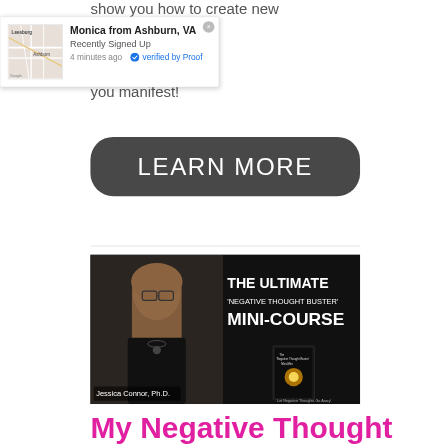show you how to create new
[Figure (screenshot): Notification popup: Monica from Ashburn, VA – Recently Signed Up – 4 minutes ago – verified by Proof, with a Google Maps thumbnail showing Leesburg and Ashburn, VA area]
you manifest!
LEARN MORE
[Figure (photo): Video thumbnail showing a woman with long hair and glasses (Jessica Connor, Ph.D.) next to text: THE ULTIMATE 'NEGATIVE THOUGHT BUSTER' MINI-COURSE, with a book cover image]
My Negative Thought